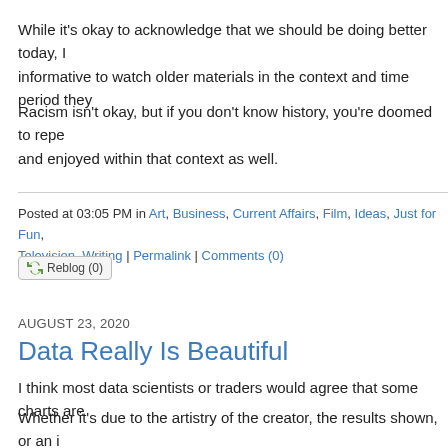While it's okay to acknowledge that we should be doing better today, I informative to watch older materials in the context and time period they
Racism isn't okay, but if you don't know history, you're doomed to repe and enjoyed within that context as well.
Posted at 03:05 PM in Art, Business, Current Affairs, Film, Ideas, Just for Fun, Television, Writing | Permalink | Comments (0)
Reblog (0)
AUGUST 23, 2020
Data Really Is Beautiful
I think most data scientists or traders would agree that some charts are
Whether it's due to the artistry of the creator, the results shown, or an i illuminated … I am sometimes surprised by the beauty of a chart.
After looking at thousands of charts, some really do look "pretty" and o Perhaps this stems from an intuition honed through many trials of sep